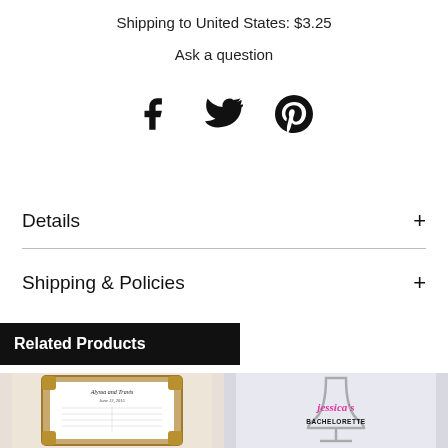Shipping to United States: $3.25
Ask a question
[Figure (infographic): Social media share icons: Facebook, Twitter, Pinterest]
Details +
Shipping & Policies +
Related Products
[Figure (photo): Product thumbnail: framed wedding seating chart with ornate gold frame, names 'Alyssa and Travis' in script]
[Figure (photo): Product thumbnail: stemless wine glass with pink script text reading 'jessica's BACHELORETTE']